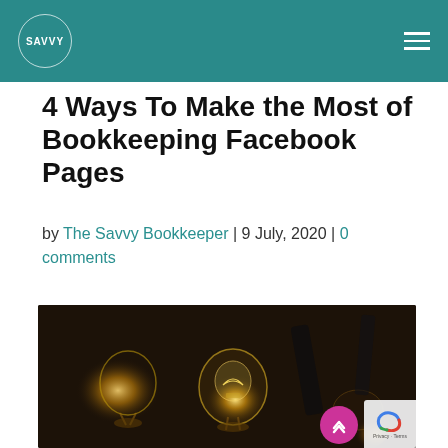SAVVY
4 Ways To Make the Most of Bookkeeping Facebook Pages
by The Savvy Bookkeeper | 9 July, 2020 | 0 comments
[Figure (photo): Vintage Edison light bulbs scattered on a dark surface, warm glowing filaments visible]